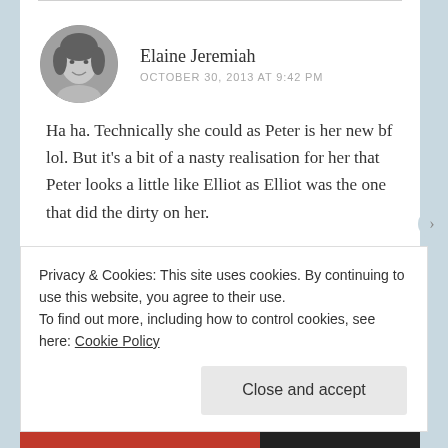[Figure (photo): Circular avatar photo of a woman, black and white, smiling]
Elaine Jeremiah
OCTOBER 30, 2013 AT 9:42 PM
Ha ha. Technically she could as Peter is her new bf lol. But it’s a bit of a nasty realisation for her that Peter looks a little like Elliot as Elliot was the one that did the dirty on her.
★ Like
Privacy & Cookies: This site uses cookies. By continuing to use this website, you agree to their use.
To find out more, including how to control cookies, see here: Cookie Policy
Close and accept